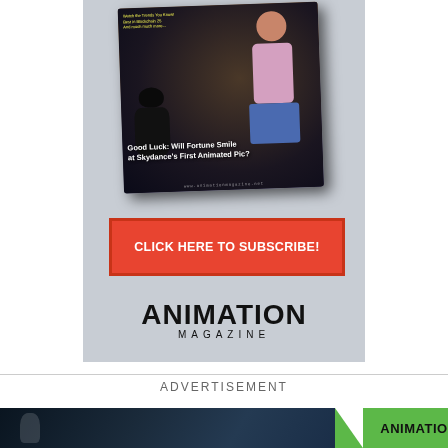[Figure (photo): Animation Magazine subscription advertisement showing a 3D animated magazine cover with a girl character and black cat, with text 'Good Luck: Will Fortune Smile at Skydance's First Animated Pic?']
CLICK HERE TO SUBSCRIBE!
[Figure (logo): Animation Magazine logo in stylized font with 'MAGAZINE' in smaller caps below]
ADVERTISEMENT
[Figure (photo): Bottom advertisement strip showing a dark scene with a person and Animation Magazine branding on green background]